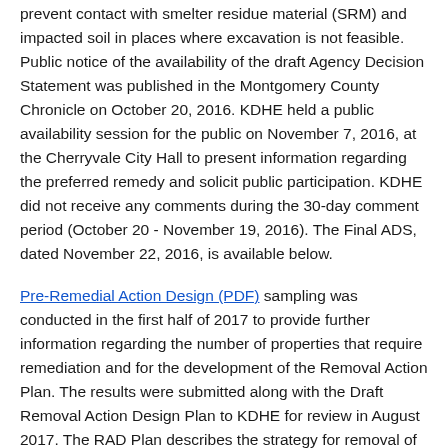prevent contact with smelter residue material (SRM) and impacted soil in places where excavation is not feasible. Public notice of the availability of the draft Agency Decision Statement was published in the Montgomery County Chronicle on October 20, 2016. KDHE held a public availability session for the public on November 7, 2016, at the Cherryvale City Hall to present information regarding the preferred remedy and solicit public participation. KDHE did not receive any comments during the 30-day comment period (October 20 - November 19, 2016). The Final ADS, dated November 22, 2016, is available below.
Pre-Remedial Action Design (PDF) sampling was conducted in the first half of 2017 to provide further information regarding the number of properties that require remediation and for the development of the Removal Action Plan. The results were submitted along with the Draft Removal Action Design Plan to KDHE for review in August 2017. The RAD Plan describes the strategy for removal of smelter residue material and